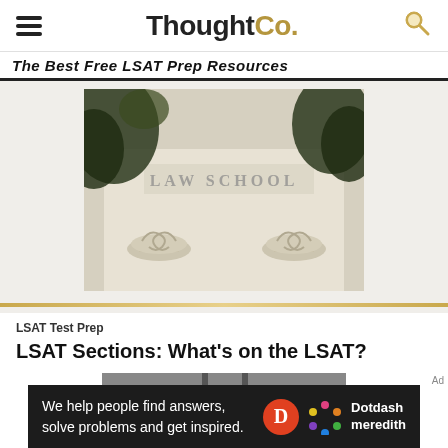ThoughtCo.
The Best Free LSAT Prep Resources
[Figure (photo): Upward view of a law school building facade with classical columns and 'LAW SCHOOL' engraved in stone, with trees in the background]
LSAT Test Prep
LSAT Sections: What's on the LSAT?
[Figure (photo): Partial photo of an architectural structure, bottom partially obscured by ad banner]
We help people find answers, solve problems and get inspired.
Dotdash meredith